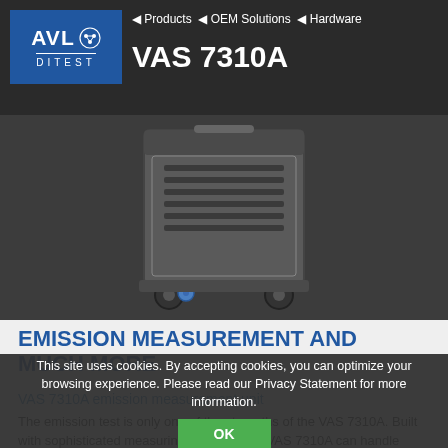Products ◄ OEM Solutions ◄ Hardware — VAS 7310A
[Figure (photo): VAS 7310A emission measurement unit device on wheels, dark metal cabinet with ventilation slots and blue wheels, photographed against dark background]
EMISSION MEASUREMENT AND MUCH MORE
VAS 7310A emission measurement unit
The emission test is only one of the strengths of the VAS 7310A. Built with sophisticated measuring modules, the VAS 7310A can handle
This site uses cookies. By accepting cookies, you can optimize your browsing experience. Please read our Privacy Statement for more information.